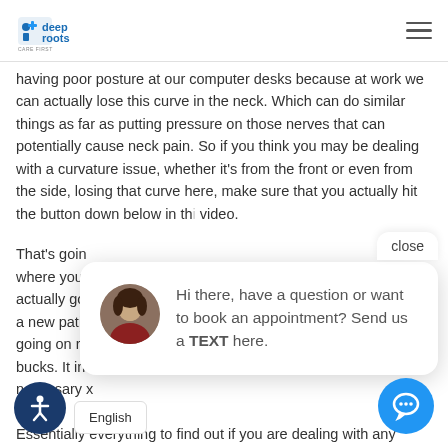DeepRoots Care First logo and hamburger menu
having poor posture at our computer desks because at work we can actually lose this curve in the neck. Which can do similar things as far as putting pressure on those nerves that can potentially cause neck pain. So if you think you may be dealing with a curvature issue, whether it's from the front or even from the side, losing that curve here, make sure that you actually hit the button down below in this video.
That's going where you actually go a new pati going on r bucks. It in necessary x do. Essentially everything to find out if you are dealing with any curvature issues that could be putting pressure on those nerves. So make you take advantage of this. We are the THE BEST Chiropractors near
[Figure (screenshot): Chat popup with avatar photo of a woman. Text reads: Hi there, have a question or want to book an appointment? Send us a TEXT here. Close button visible.]